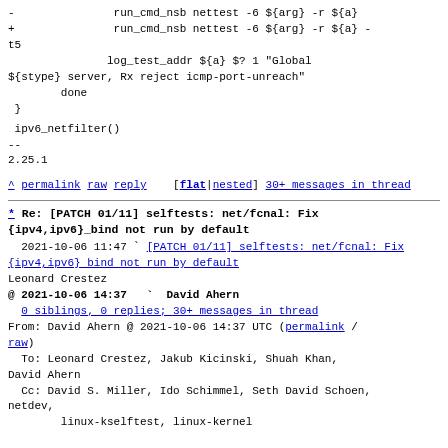-               run_cmd_nsb nettest -6 ${arg} -r ${a}
+               run_cmd_nsb nettest -6 ${arg} -r ${a} -
t5
               log_test_addr ${a} $? 1 "Global
${stype} server, Rx reject icmp-port-unreach"
        done
 }
ipv6_netfilter()
--
2.25.1
^ permalink raw reply  [flat|nested] 30+ messages in thread
* Re: [PATCH 01/11] selftests: net/fcnal: Fix {ipv4,ipv6}_bind not run by default
  2021-10-06 11:47 ` [PATCH 01/11] selftests: net/fcnal: Fix {ipv4,ipv6} bind not run by default Leonard Crestez
@ 2021-10-06 14:37   ` David Ahern
  0 siblings, 0 replies; 30+ messages in thread
From: David Ahern @ 2021-10-06 14:37 UTC (permalink / raw)
  To: Leonard Crestez, Jakub Kicinski, Shuah Khan, David Ahern
  Cc: David S. Miller, Ido Schimmel, Seth David Schoen, netdev,
      linux-kselftest, linux-kernel